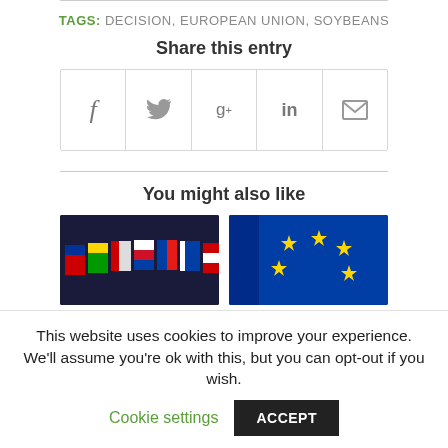TAGS: DECISION, EUROPEAN UNION, SOYBEANS
Share this entry
[Figure (infographic): Social share buttons: Facebook (f), Twitter (bird), Google+ (g+), LinkedIn (in), Email (envelope)]
You might also like
[Figure (photo): Two thumbnail photos side by side: left shows multiple EU country flags arranged in a row on a dark background, right shows EU flag with yellow stars on blue background]
This website uses cookies to improve your experience. We'll assume you're ok with this, but you can opt-out if you wish.
Cookie settings  ACCEPT